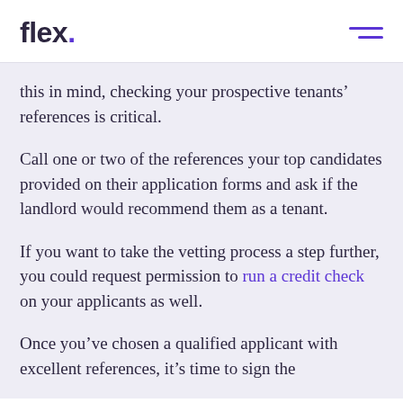flex.
this in mind, checking your prospective tenants’ references is critical.
Call one or two of the references your top candidates provided on their application forms and ask if the landlord would recommend them as a tenant.
If you want to take the vetting process a step further, you could request permission to run a credit check on your applicants as well.
Once you’ve chosen a qualified applicant with excellent references, it’s time to sign the